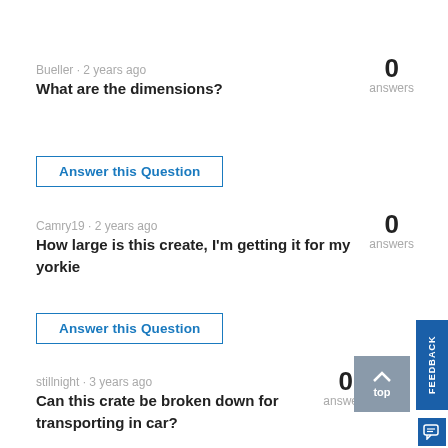Bueller · 2 years ago
What are the dimensions?
0 answers
Answer this Question
Camry19 · 2 years ago
How large is this create, I'm getting it for my yorkie
0 answers
Answer this Question
stillnight · 3 years ago
Can this crate be broken down for transporting in car?
0 answers